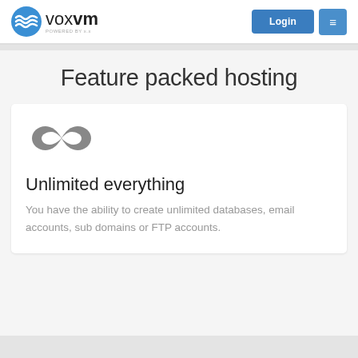voxvm — Login navigation
Feature packed hosting
[Figure (illustration): Infinity symbol icon in dark gray, representing unlimited resources]
Unlimited everything
You have the ability to create unlimited databases, email accounts, sub domains or FTP accounts.